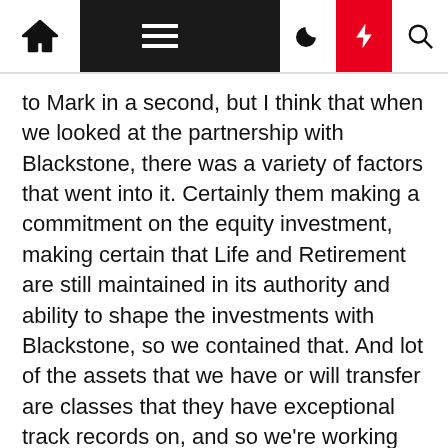[Navigation bar with home, menu, moon, bolt, and search icons]
to Mark in a second, but I think that when we looked at the partnership with Blackstone, there was a variety of factors that went into it. Certainly them making a commitment on the equity investment, making certain that Life and Retirement are still maintained in its authority and ability to shape the investments with Blackstone, so we contained that. And lot of the assets that we have or will transfer are classes that they have exceptional track records on, and so we're working through that.
We do believe that the AUM will grow over time with the Life and Retirement. And so this has become a smaller percentage and the base case was that not only with Blackstone partnership that our overall business model will evolve to be more efficient over time but, Mark, maybe you could fill in a couple of